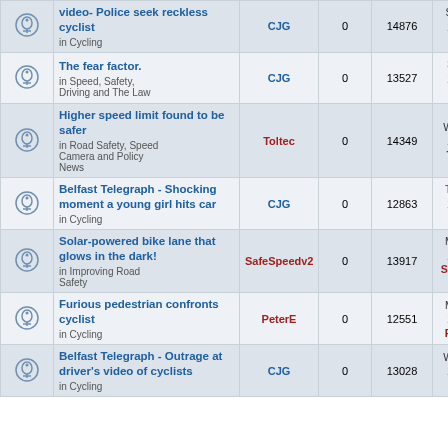|  | Topic | Author | Replies | Views | Last post |
| --- | --- | --- | --- | --- | --- |
|  | video- Police seek reckless cyclist
in Cycling | CJG | 0 | 14876 | Sat May 13, 2017 15:21
CJG |
|  | The fear factor.
in Speed, Safety, Driving and The Law | CJG | 0 | 13527 | Sat Jan 28, 2017 14:20
CJG |
|  | Higher speed limit found to be safer
in Road Safety, Speed Camera and Policy News | Toltec | 0 | 14349 | Wed Dec 14, 2016 20:36
Toltec |
|  | Belfast Telegraph - Shocking moment a young girl hits car
in Cycling | CJG | 0 | 12863 | Thu Nov 03, 2016 11:57
CJG |
|  | Solar-powered bike lane that glows in the dark!
in Improving Road Safety | SafeSpeedv2 | 0 | 13917 | Mon Oct 17, 2016 01:39
SafeSpeedv2 |
|  | Furious pedestrian confronts cyclist
in Cycling | PeterE | 0 | 12551 | Mon Oct 03, 2016 10:50
PeterE |
|  | Belfast Telegraph - Outrage at driver's video of cyclists
in Cycling | CJG | 0 | 13028 | Wed Sep 21, 2016 12:18
CJG |